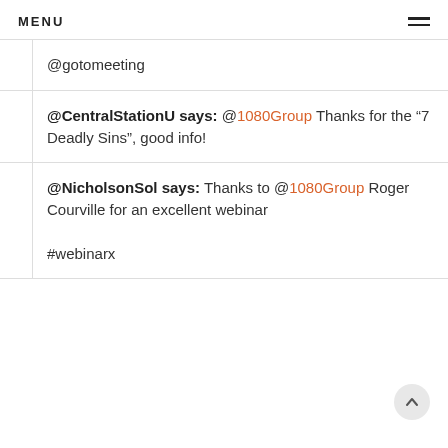MENU
@gotomeeting
@CentralStationU says: @1080Group Thanks for the “7 Deadly Sins”, good info!
@NicholsonSol says: Thanks to @1080Group Roger Courville for an excellent webinar #webinarx